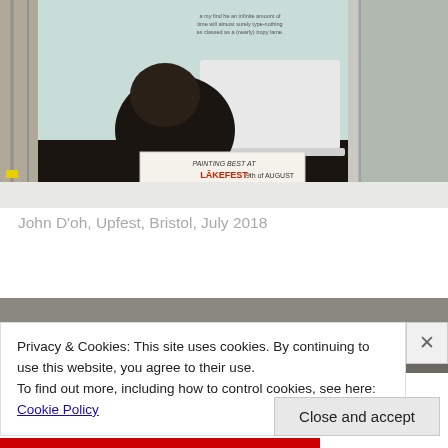[Figure (photo): Street art photograph showing a chimpanzee at a laptop, displayed on a large panel/board outdoors at a festival. A sign reads 'PAINTING BEST AT LAKEFEST 9th of AUGUST COME AND SEE ME'. The panel is set up on a white platform with metal scaffolding visible in the background.]
John D'oh, Upfest, Bristol, July 2018
[Figure (photo): Partially visible photograph showing a dark surface, possibly a street art mural, partially obscured by a cookie consent banner.]
Privacy & Cookies: This site uses cookies. By continuing to use this website, you agree to their use.
To find out more, including how to control cookies, see here: Cookie Policy
Close and accept